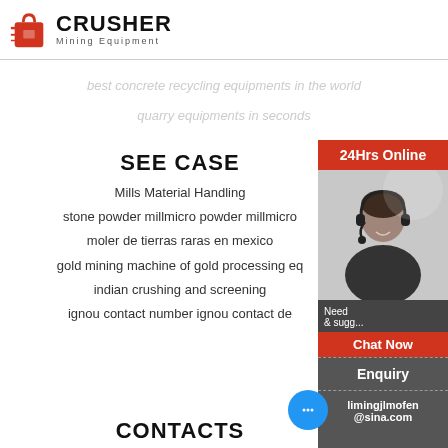CRUSHER Mining Equipment
best concrete recycling equipments in the world
quarry equipments in seconds
SEE CASE
Mills Material Handling
stone powder millmicro powder millmicro
moler de tierras raras en mexico
gold mining machine of gold processing eq
indian crushing and screening
ignou contact number ignou contact de
CONTACTS
[Figure (photo): Customer service representative woman with headset, sidebar photo]
24Hrs Online
Need & suggestions
Chat Now
Enquiry
limingjlmofen@sina.com